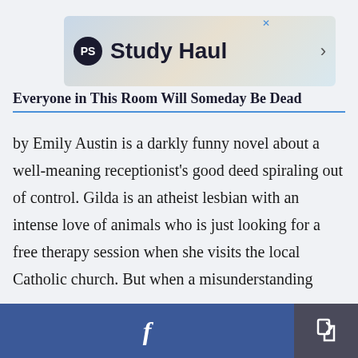[Figure (other): Advertisement banner for 'Study Haul' with PS logo icon on gradient background]
Everyone in This Room Will Someday Be Dead
by Emily Austin is a darkly funny novel about a well-meaning receptionist's good deed spiraling out of control. Gilda is an atheist lesbian with an intense love of animals who is just looking for a free therapy session when she visits the local Catholic church. But when a misunderstanding results in her becoming the church's new receptionist, she becomes obsessed with the death of her predecessor.
Facebook share button and share icon button